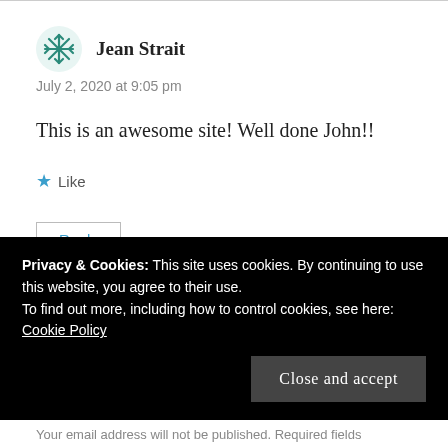Jean Strait
July 2, 2020 at 9:05 pm
This is an awesome site! Well done John!!
Like
Reply
Privacy & Cookies: This site uses cookies. By continuing to use this website, you agree to their use.
To find out more, including how to control cookies, see here:
Cookie Policy
Close and accept
Your email address will not be published. Required fields